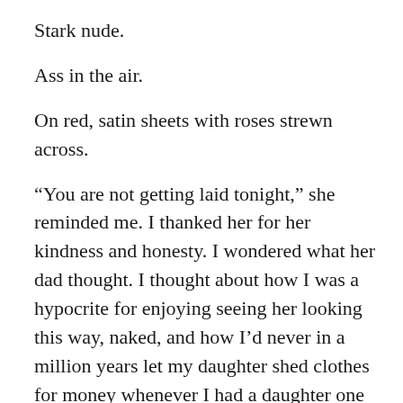Stark nude.
Ass in the air.
On red, satin sheets with roses strewn across.
“You are not getting laid tonight,” she reminded me. I thanked her for her kindness and honesty. I wondered what her dad thought. I thought about how I was a hypocrite for enjoying seeing her looking this way, naked, and how I’d never in a million years let my daughter shed clothes for money whenever I had a daughter one day.